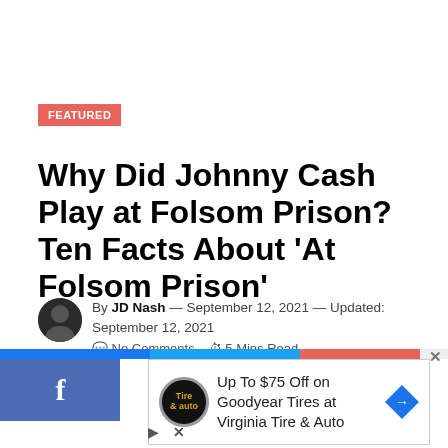FEATURED
Why Did Johnny Cash Play at Folsom Prison? Ten Facts About ‘At Folsom Prison’
By JD Nash — September 12, 2021 — Updated: September 12, 2021  No Comments  5 Mins Read
[Figure (infographic): Social share bar with Facebook (blue), Twitter (blue), and Pinterest (red) color segments]
[Figure (screenshot): Advertisement: Up To $75 Off on Goodyear Tires at Virginia Tire & Auto]